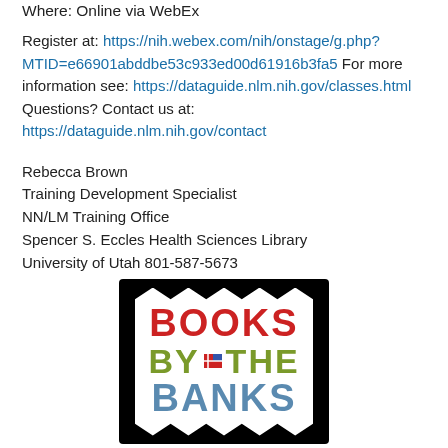Where: Online via WebEx
Register at: https://nih.webex.com/nih/onstage/g.php?MTID=e66901abddbe53c933ed00d61916b3fa5 For more information see: https://dataguide.nlm.nih.gov/classes.html Questions? Contact us at: https://dataguide.nlm.nih.gov/contact
Rebecca Brown
Training Development Specialist
NN/LM Training Office
Spencer S. Eccles Health Sciences Library
University of Utah 801-587-5673
[Figure (logo): Books By The Banks logo — white ticket-shaped background with scalloped top and bottom edges on a black rectangle. 'BOOKS' in red bold letters, 'BY THE' in olive/green bold letters with a small red flag icon between words, 'BANKS' in blue bold letters.]